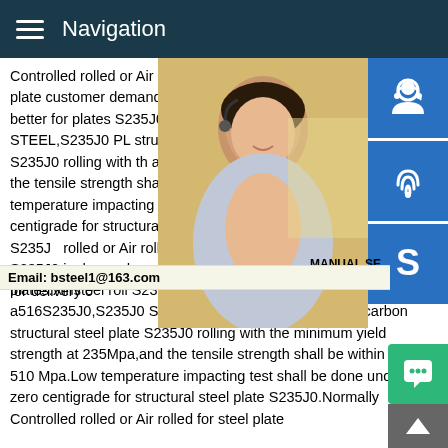Navigation
Controlled rolled or Air rolled for steel plate customer demand,normalized is better for plates S235J0,S235J0 STEEL,S235J0 PL structural steel plate S235J0 rolling with th at 235Mpa,and the tensile strength shall b Mpa.Low temperature impacting test shall centigrade for structural steel plate S235J0 rolled or Air rolled for steel plate S235J0 is demand,normalized is better for delivery o plates.Xinsteel roll S235J0S235J0 Stock S235J0 Supplier-a516S235J0,S235J0 STEEL,S235J0 PLATE.Common carbon structural steel plate S235J0 rolling with the minimum yield strength at 235Mpa,and the tensile strength shall be within 360 510 Mpa.Low temperature impacting test shall be done under zero centigrade for structural steel plate S235J0.Normally Controlled rolled or Air rolled for steel plate
[Figure (photo): Customer service representative woman with headset]
MANUAL SE QUOTING O Email: bsteel1@163.com